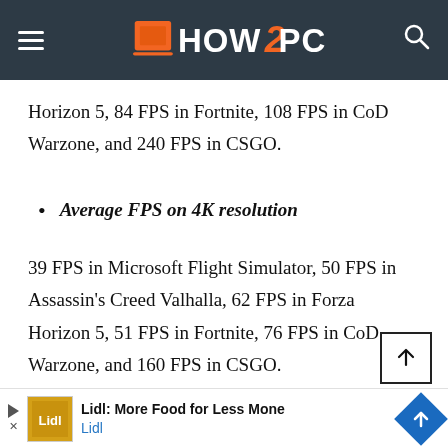HOW2PC
Horizon 5, 84 FPS in Fortnite, 108 FPS in CoD Warzone, and 240 FPS in CSGO.
Average FPS on 4K resolution
39 FPS in Microsoft Flight Simulator, 50 FPS in Assassin's Creed Valhalla, 62 FPS in Forza Horizon 5, 51 FPS in Fortnite, 76 FPS in CoD Warzone, and 160 FPS in CSGO.
[Figure (other): Advertisement banner: Lidl: More Food for Less Money - Lidl]